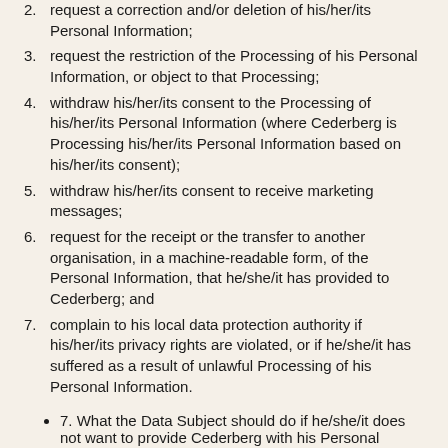2. request a correction and/or deletion of his/her/its Personal Information;
3. request the restriction of the Processing of his Personal Information, or object to that Processing;
4. withdraw his/her/its consent to the Processing of his/her/its Personal Information (where Cederberg is Processing his/her/its Personal Information based on his/her/its consent);
5. withdraw his/her/its consent to receive marketing messages;
6. request for the receipt or the transfer to another organisation, in a machine-readable form, of the Personal Information, that he/she/it has provided to Cederberg; and
7. complain to his local data protection authority if his/her/its privacy rights are violated, or if he/she/it has suffered as a result of unlawful Processing of his Personal Information.
7. What the Data Subject should do if he/she/it does not want to provide Cederberg with his Personal Information